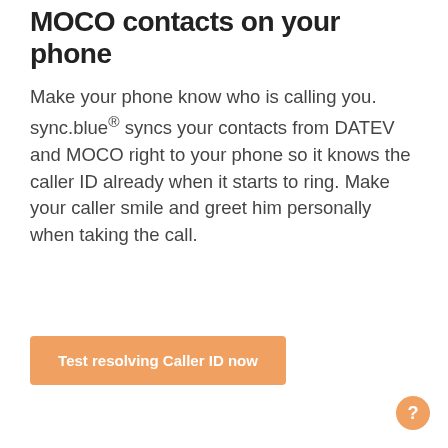MOCO contacts on your phone
Make your phone know who is calling you. sync.blue® syncs your contacts from DATEV and MOCO right to your phone so it knows the caller ID already when it starts to ring. Make your caller smile and greet him personally when taking the call.
Test resolving Caller ID now
[Figure (other): Orange circular help/info button with question mark icon, positioned at bottom-right corner]